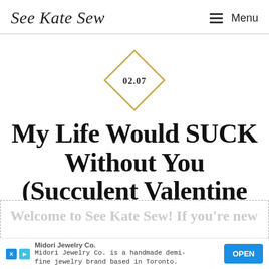See Kate Sew — Menu
[Figure (illustration): Gold diamond/rhombus shape outline with the date '02.07' centered inside it]
My Life Would SUCK Without You (Succulent Valentine Idea)
Welcome to See Kate Sew! If you're new here...
Midori Jewelry Co. — Midori Jewelry Co. is a handmade demi-fine jewelry brand based in Toronto. — OPEN